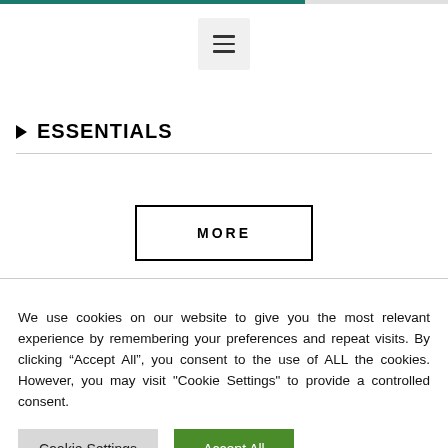[Figure (other): Progress bar at top, approximately 68% filled in teal/dark green color]
[Figure (other): Hamburger menu button with three horizontal lines on a light grey background]
▶ ESSENTIALS
[Figure (other): Button with border labeled MORE in uppercase spaced letters]
We use cookies on our website to give you the most relevant experience by remembering your preferences and repeat visits. By clicking “Accept All”, you consent to the use of ALL the cookies. However, you may visit "Cookie Settings" to provide a controlled consent.
[Figure (other): Cookie Settings button (grey) and Accept All button (green)]